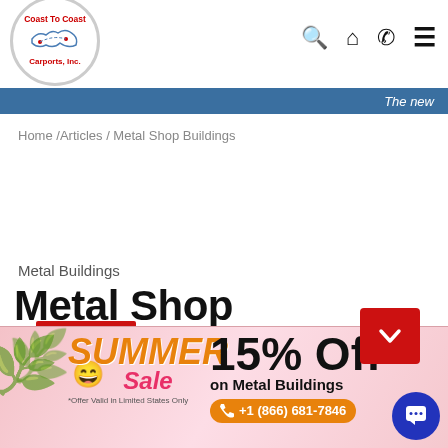[Figure (logo): Coast To Coast Carports, Inc. logo in a circle with US map outline]
The new
Home /Articles / Metal Shop Buildings
04 SEP 2015
Metal Buildings
Metal Shop Buildings
[Figure (infographic): Summer Sale banner: SUMMER Sale 15% Off on Metal Buildings *Offer Valid in Limited States Only +1 (866) 681-7846]